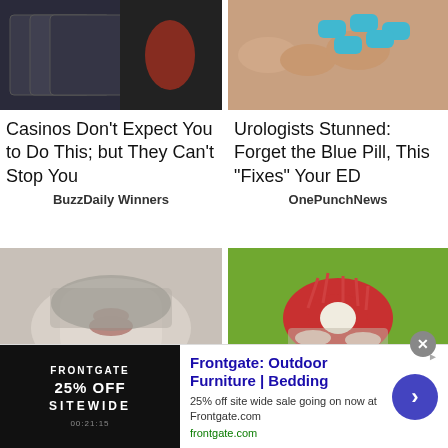[Figure (photo): Person at casino slot machine]
[Figure (photo): Hand holding blue pills]
Casinos Don't Expect You to Do This; but They Can't Stop You
Urologists Stunned: Forget the Blue Pill, This "Fixes" Your ED
BuzzDaily Winners
OnePunchNews
[Figure (photo): Close-up of man's lower face with beard]
[Figure (photo): Hand holding rambutan fruit]
Doctors Stunned: This
If You Believe in God,
Remo
[Figure (screenshot): Frontgate outdoor furniture advertisement banner: 25% off site wide sale going on now at Frontgate.com]